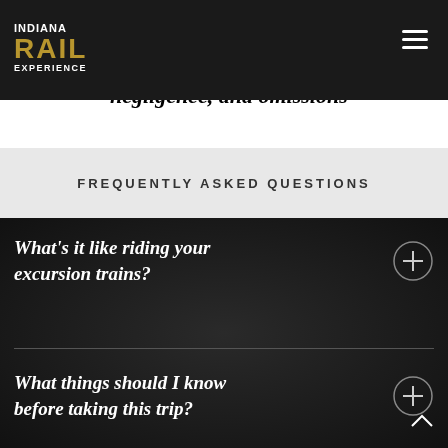INDIANA RAIL EXPERIENCE
all related liability for negligence, combined negligence, and omissions
FREQUENTLY ASKED QUESTIONS
What's it like riding your excursion trains?
What things should I know before taking this trip?